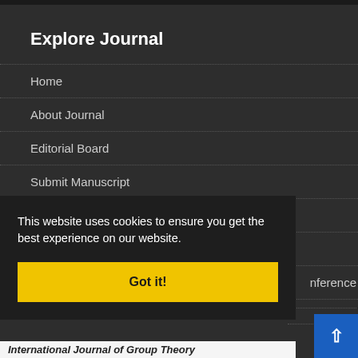Explore Journal
Home
About Journal
Editorial Board
Submit Manuscript
Contact Us
Glossary
Sitemap
This website uses cookies to ensure you get the best experience on our website.
Got it!
nference
International Journal of Group Theory